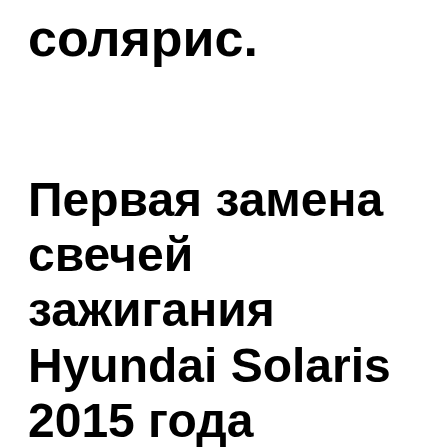солярис.
Первая замена свечей зажигания Hyundai Solaris 2015 года